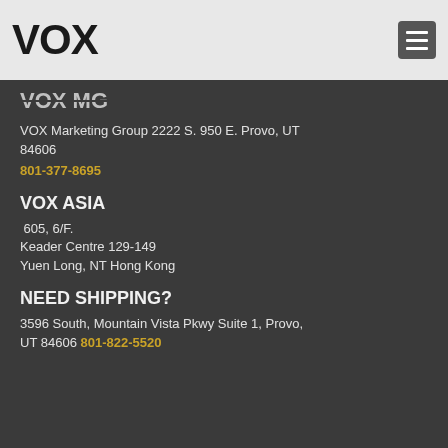VOX
VOX MG
VOX Marketing Group 2222 S. 950 E. Provo, UT 84606
801-377-8695
VOX ASIA
605, 6/F.
Keader Centre 129-149
Yuen Long, NT Hong Kong
NEED SHIPPING?
3596 South, Mountain Vista Pkwy Suite 1, Provo, UT 84606 801-822-5520